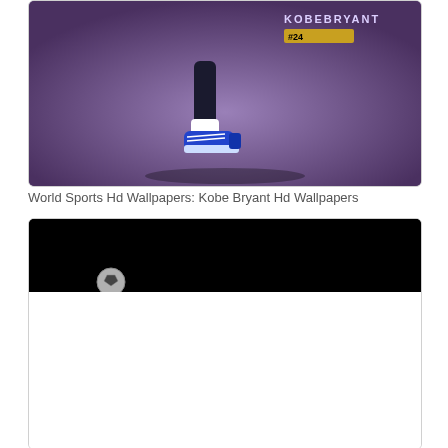[Figure (photo): Sports wallpaper image showing Kobe Bryant #24 with purple background, lower legs and sneakers visible, gold badge with #24]
World Sports Hd Wallpapers: Kobe Bryant Hd Wallpapers
[Figure (photo): Dark/black background image with a small spherical object (ball) visible at bottom left, partially cut off]